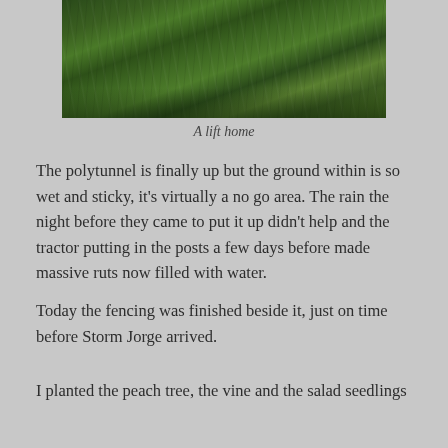[Figure (photo): Close-up photograph of dark green grass viewed from above]
A lift home
The polytunnel is finally up but the ground within is so wet and sticky, it's virtually a no go area. The rain the night before they came to put it up didn't help and the tractor putting in the posts a few days before made massive ruts now filled with water.
Today the fencing was finished beside it, just on time before Storm Jorge arrived.
I planted the peach tree, the vine and the salad seedlings